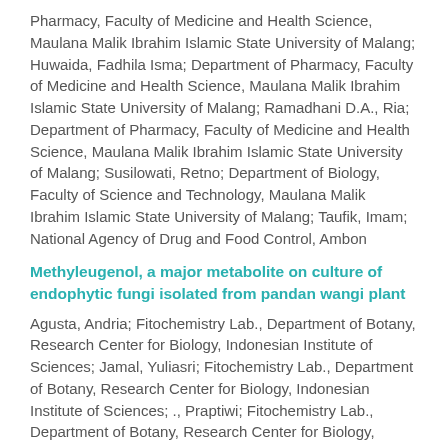Pharmacy, Faculty of Medicine and Health Science, Maulana Malik Ibrahim Islamic State University of Malang; Huwaida, Fadhila Isma; Department of Pharmacy, Faculty of Medicine and Health Science, Maulana Malik Ibrahim Islamic State University of Malang; Ramadhani D.A., Ria; Department of Pharmacy, Faculty of Medicine and Health Science, Maulana Malik Ibrahim Islamic State University of Malang; Susilowati, Retno; Department of Biology, Faculty of Science and Technology, Maulana Malik Ibrahim Islamic State University of Malang; Taufik, Imam; National Agency of Drug and Food Control, Ambon
Methyleugenol, a major metabolite on culture of endophytic fungi isolated from pandan wangi plant
Agusta, Andria; Fitochemistry Lab., Department of Botany, Research Center for Biology, Indonesian Institute of Sciences; Jamal, Yuliasri; Fitochemistry Lab., Department of Botany, Research Center for Biology, Indonesian Institute of Sciences; ., Praptiwi; Fitochemistry Lab., Department of Botany, Research Center for Biology, Indonesian Institute of Sciences
Modulatory effect of Drosera peltata J.E.Sm on development of metabolic syndrome in tumor bearing mice